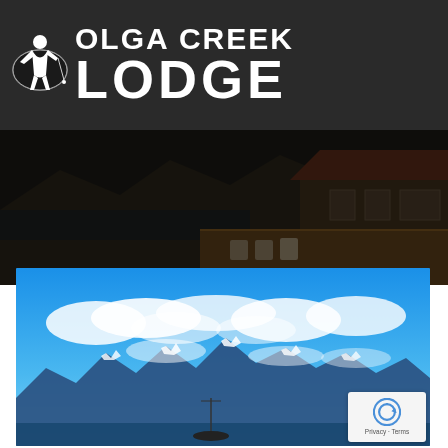[Figure (logo): Olga Creek Lodge logo with globe/fisherman icon on dark gray banner background]
[Figure (photo): Darkened panoramic photo of a lodge building with deck chairs along a waterfront, mountains in background]
[Figure (photo): Bright blue sky panoramic photo with snow-capped mountain range and a boat visible at bottom, partially overlaid with a reCAPTCHA badge showing Privacy and Terms text]